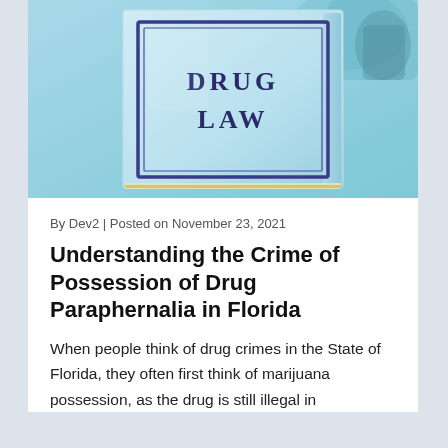[Figure (photo): A light blue book titled 'DRUG LAW' with a dark blue rectangular border on the cover, sitting on a blue surface with a blurred background object.]
By Dev2 | Posted on November 23, 2021
Understanding the Crime of Possession of Drug Paraphernalia in Florida
When people think of drug crimes in the State of Florida, they often first think of marijuana possession, as the drug is still illegal in